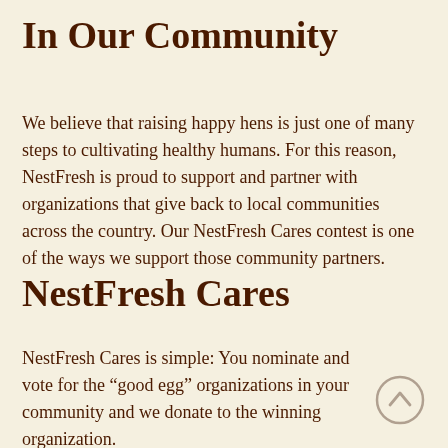In Our Community
We believe that raising happy hens is just one of many steps to cultivating healthy humans. For this reason, NestFresh is proud to support and partner with organizations that give back to local communities across the country. Our NestFresh Cares contest is one of the ways we support those community partners.
NestFresh Cares
NestFresh Cares is simple: You nominate and vote for the “good egg” organizations in your community and we donate to the winning organization.